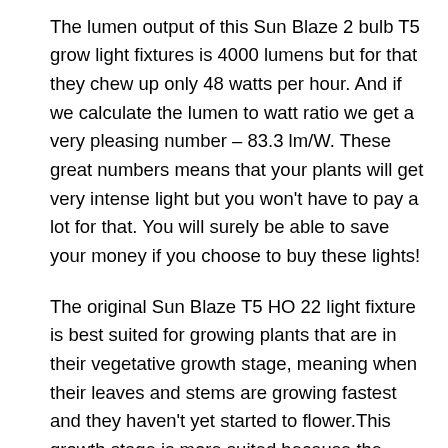are glowing.
The lumen output of this Sun Blaze 2 bulb T5 grow light fixtures is 4000 lumens but for that they chew up only 48 watts per hour. And if we calculate the lumen to watt ratio we get a very pleasing number – 83.3 lm/W. These great numbers means that your plants will get very intense light but you won't have to pay a lot for that. You will surely be able to save your money if you choose to buy these lights!
The original Sun Blaze T5 HO 22 light fixture is best suited for growing plants that are in their vegetative growth stage, meaning when their leaves and stems are growing fastest and they haven't yet started to flower.This growth stage is more suited because the original bulb color temperature is 6500K and you can find out more about color temperatures and t5 lights here.
But you can also buy bulbs with the color temperature of 3000K which is the most beneficial for plants when they are flowering.
The housing for these lamps are made from white powder